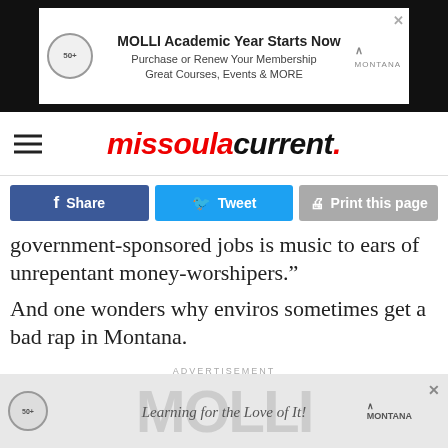[Figure (screenshot): Top advertisement banner for MOLLI Academic Year with Montana logo on black background]
missoulacurrent.
[Figure (screenshot): Social share buttons: Share (Facebook, blue), Tweet (Twitter, light blue), Print this page (gray)]
government-sponsored jobs is music to ears of unrepentant money-worshipers.”
And one wonders why enviros sometimes get a bad rap in Montana.
ADVERTISEMENT
[Figure (screenshot): Bottom advertisement banner for MOLLI with large gray MOLLI text and 'Learning for the Love of It!' script, Montana logo]